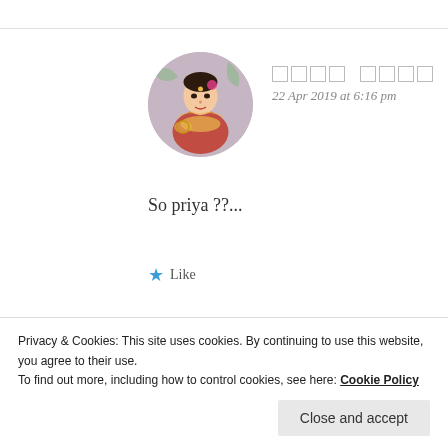[Figure (photo): Circular avatar image of a woman in traditional Indian attire with red and gold dress, holding a plate, ornate decorative background]
□□□□ □□□□
22 Apr 2019 at 6:16 pm
So priya ??...
★ Like
[Figure (photo): Circular avatar image similar to the first, partially visible at bottom]
□□□□ □□□□
Privacy & Cookies: This site uses cookies. By continuing to use this website, you agree to their use.
To find out more, including how to control cookies, see here: Cookie Policy
Close and accept